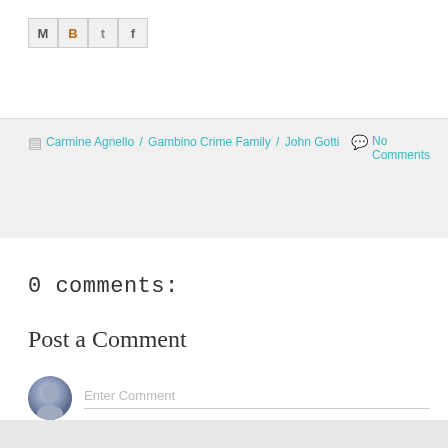[Figure (other): Social sharing icon buttons: M (email), B (Blogger), t (Twitter), f (Facebook)]
Carmine Agnello / Gambino Crime Family / John Gotti  No Comments
0 comments:
Post a Comment
[Figure (other): User avatar placeholder (grey circle with person silhouette) and Enter Comment input field]